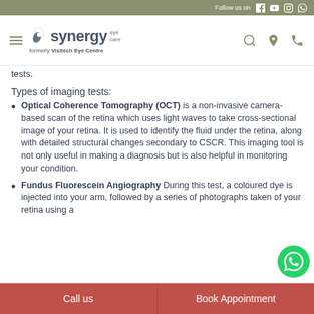Follow us on [social icons]
[Figure (logo): Synergy Eye Care logo with hamburger menu, formerly Visitech Eye Centre]
tests.
Types of imaging tests:
Optical Coherence Tomography (OCT) is a non-invasive camera-based scan of the retina which uses light waves to take cross-sectional image of your retina. It is used to identify the fluid under the retina, along with detailed structural changes secondary to CSCR. This imaging tool is not only useful in making a diagnosis but is also helpful in monitoring your condition.
Fundus Fluorescein Angiography During this test, a coloured dye is injected into your arm, followed by a series of photographs taken of your retina using a
Call us | Book Appointment